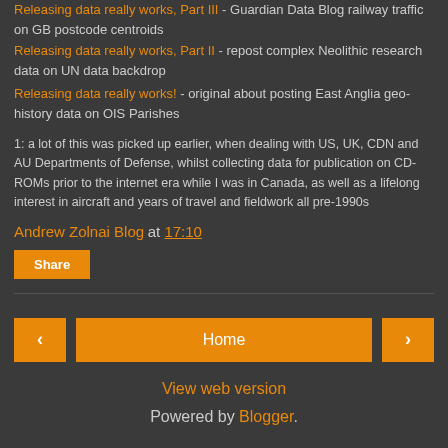Releasing data really works, Part III - Guardian Data Blog railway traffic on GB postcode centroids
Releasing data really works, Part II - repost complex Neolithic research data on UN data backdrop
Releasing data really works! - original about posting East Anglia geo-history data on OIS Parishes
1:  a lot of this was picked up earlier, when dealing with US, UK, CDN and AU Departments of Defense, whilst collecting data for publication on CD-ROMs prior to the internet era while I was in Canada, as well as a lifelong interest in aircraft and years of travel and fieldwork all pre-1990s
Andrew Zolnai Blog at 17:10
Share
Home
View web version
Powered by Blogger.